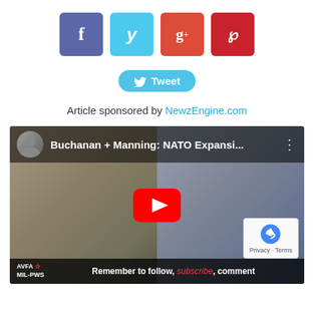[Figure (infographic): Social media share buttons: Facebook (blue-purple), Twitter (cyan), Google+ (red-orange), Pinterest (red)]
[Figure (infographic): Twitter Tweet button with bird icon, cyan rounded button]
Article sponsored by NewzEngine.com
[Figure (screenshot): YouTube video thumbnail showing two men in a video call. Title: 'Buchanan + Manning: NATO Expansi...' with YouTube play button overlay. Bottom bar shows AVFA MIL-PWS logo and text: 'Remember to follow, subscribe, comment']